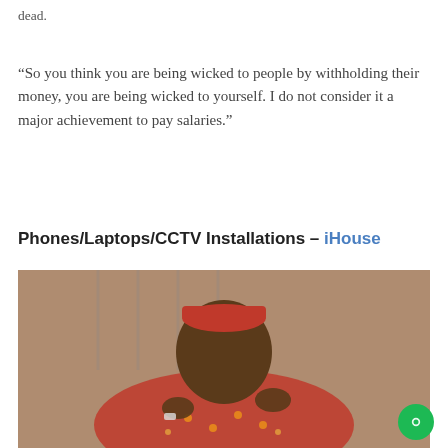dead.
“So you think you are being wicked to people by withholding their money, you are being wicked to yourself. I do not consider it a major achievement to pay salaries.”
Phones/Laptops/CCTV Installations – iHouse
[Figure (photo): A man wearing a red traditional cap and a red and black patterned traditional attire, seated and gesturing with his hands, photographed indoors with curtains and a sofa visible in the background.]